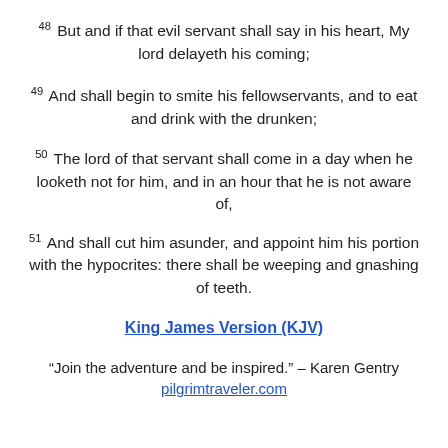48 But and if that evil servant shall say in his heart, My lord delayeth his coming;
49 And shall begin to smite his fellowservants, and to eat and drink with the drunken;
50 The lord of that servant shall come in a day when he looketh not for him, and in an hour that he is not aware of,
51 And shall cut him asunder, and appoint him his portion with the hypocrites: there shall be weeping and gnashing of teeth.
King James Version (KJV)
“Join the adventure and be inspired.” – Karen Gentry
pilgrimtraveler.com